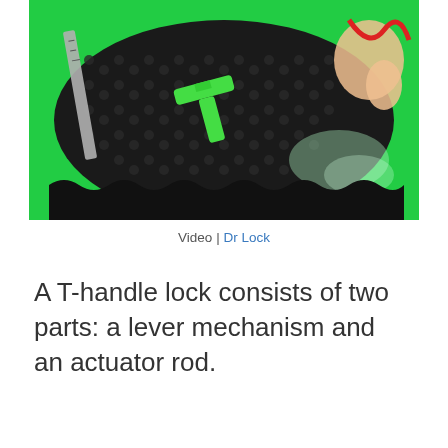[Figure (photo): A photo of hands holding a T-shaped green plastic piece and other tools/parts over a black egg-crate foam surface on a bright green background. Various metal components and a ruler are visible.]
Video | Dr Lock
A T-handle lock consists of two parts: a lever mechanism and an actuator rod.